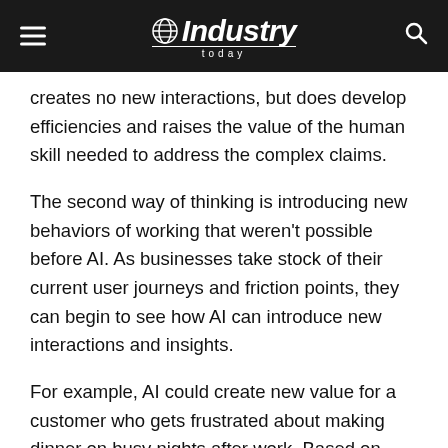Industry Today
creates no new interactions, but does develop efficiencies and raises the value of the human skill needed to address the complex claims.
The second way of thinking is introducing new behaviors of working that weren't possible before AI. As businesses take stock of their current user journeys and friction points, they can begin to see how AI can introduce new interactions and insights.
For example, AI could create new value for a customer who gets frustrated about making dinner on busy nights after work. Based on what is known about this sho (he posts social content about food and drives to th same grocery store on Thursdays). AI can identify